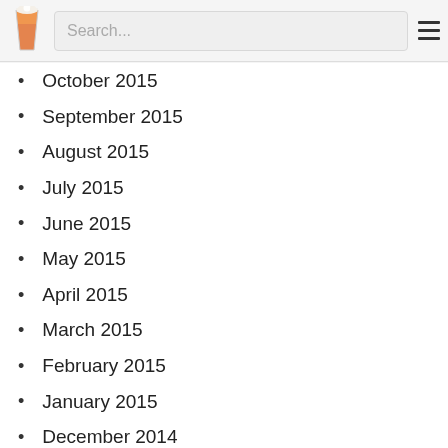Search...
October 2015
September 2015
August 2015
July 2015
June 2015
May 2015
April 2015
March 2015
February 2015
January 2015
December 2014
November 2014
October 2014
September 2014
August 2014
July 2014
June 2014
May 2014